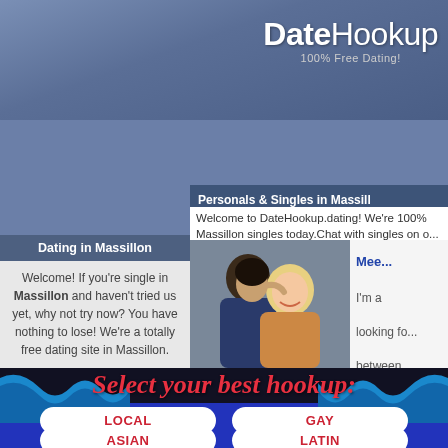[Figure (screenshot): DateHookup website logo: bold white text 'DateHookup' with tagline '100% Free Dating!' on blue-grey gradient background]
Personals & Singles in Massill...
Welcome to DateHookup.dating! We're 100% Massillon singles today.Chat with singles on o...
Dating in Massillon
Welcome! If you're single in Massillon and haven't tried us yet, why not try now? You have nothing to lose! We're a totally free dating site in Massillon.

Paid dating sites are boring.
[Figure (photo): Couple photo: man kissing woman on cheek, woman smiling]
Mee... I'm a  looking fo... between
Select your best hookup:
LOCAL
GAY
ASIAN
LATIN